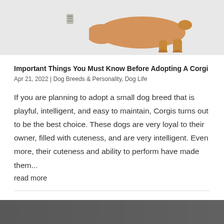[Figure (photo): Partial photo of a Corgi dog walking on a white surface, with a small kibble/treat icon visible on the left side. Light grey background.]
Important Things You Must Know Before Adopting A Corgi
Apr 21, 2022 | Dog Breeds & Personality, Dog Life
If you are planning to adopt a small dog breed that is playful, intelligent, and easy to maintain, Corgis turns out to be the best choice. These dogs are very loyal to their owner, filled with cuteness, and are very intelligent. Even more, their cuteness and ability to perform have made them...
read more
[Figure (photo): Partial photo visible at the very bottom of the page, dark/grey tones.]